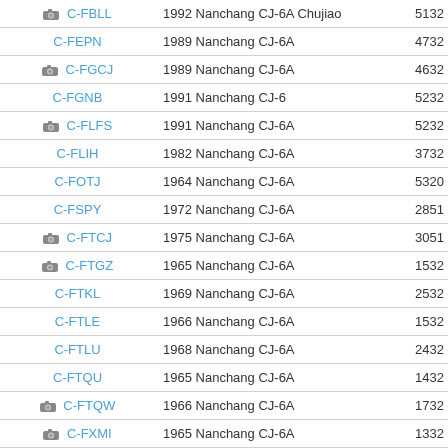| Registration | Aircraft | Number |
| --- | --- | --- |
| C-FBLL | 1992 Nanchang CJ-6A Chujiao | 5132 |
| C-FEPN | 1989 Nanchang CJ-6A | 4732 |
| C-FGCJ | 1989 Nanchang CJ-6A | 4632 |
| C-FGNB | 1991 Nanchang CJ-6 | 5232 |
| C-FLFS | 1991 Nanchang CJ-6A | 5232 |
| C-FLIH | 1982 Nanchang CJ-6A | 3732 |
| C-FOTJ | 1964 Nanchang CJ-6A | 5320 |
| C-FSPY | 1972 Nanchang CJ-6A | 2851 |
| C-FTCJ | 1975 Nanchang CJ-6A | 3051 |
| C-FTGZ | 1965 Nanchang CJ-6A | 1532 |
| C-FTKL | 1969 Nanchang CJ-6A | 2532 |
| C-FTLE | 1966 Nanchang CJ-6A | 1532 |
| C-FTLU | 1968 Nanchang CJ-6A | 2432 |
| C-FTQU | 1965 Nanchang CJ-6A | 1432 |
| C-FTQW | 1966 Nanchang CJ-6A | 1732 |
| C-FXMI | 1965 Nanchang CJ-6A | 1332 |